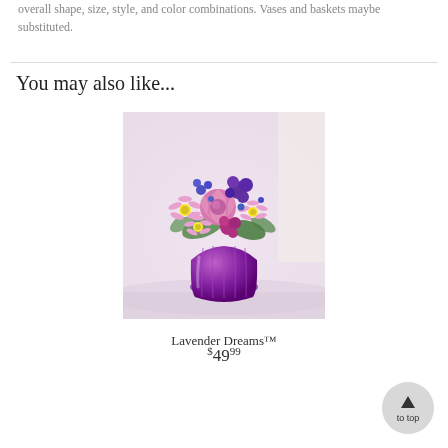overall shape, size, style, and color combinations. Vases and baskets maybe substituted.
You may also like...
[Figure (photo): Photo of Lavender Dreams flower arrangement: pink roses, purple daisies, and violet flowers in a purple ribbed glass vase on a light background.]
Lavender Dreams™
$49.99